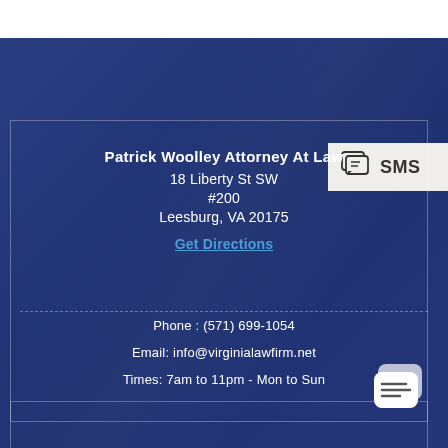Patrick Woolley Attorney At Law
18 Liberty St SW
#200
Leesburg, VA 20175
Get Directions
Phone : (571) 699-1054
Email: info@virginialawfirm.net
Times: 7am to 11pm - Mon to Sun
[Figure (other): SMS chat widget button in top-right corner with phone/chat icon and SMS label]
[Figure (other): Chat bubble icon in bottom-right corner]